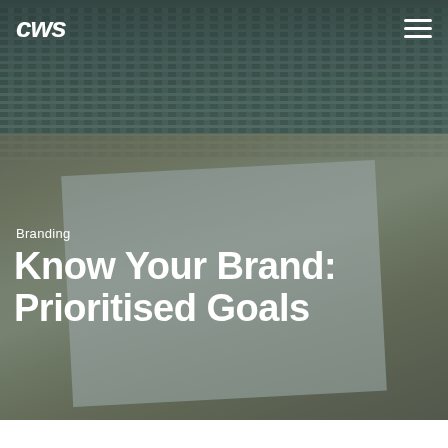[Figure (photo): Hero image showing a person's hand writing on a notepad with a laptop keyboard visible in the background, tinted with a dark green/teal overlay. CWS logo and hamburger menu visible in top navigation.]
Branding
Know Your Brand: Prioritised Goals